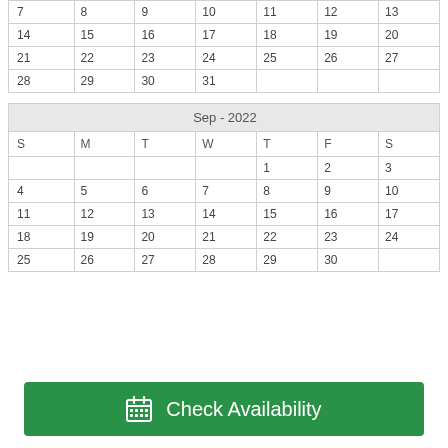| S | M | T | W | T | F | S |
| --- | --- | --- | --- | --- | --- | --- |
| 7 | 8 | 9 | 10 | 11 | 12 | 13 |
| 14 | 15 | 16 | 17 | 18 | 19 | 20 |
| 21 | 22 | 23 | 24 | 25 | 26 | 27 |
| 28 | 29 | 30 | 31 |  |  |  |
| Sep - 2022 |
| --- |
| S | M | T | W | T | F | S |
|  |  |  |  | 1 | 2 | 3 |
| 4 | 5 | 6 | 7 | 8 | 9 | 10 |
| 11 | 12 | 13 | 14 | 15 | 16 | 17 |
| 18 | 19 | 20 | 21 | 22 | 23 | 24 |
| 25 | 26 | 27 | 28 | 29 | 30 |  |
Check Availability